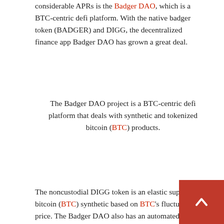considerable APRs is the Badger DAO, which is a BTC-centric defi platform. With the native badger token (BADGER) and DIGG, the decentralized finance app Badger DAO has grown a great deal.
The Badger DAO project is a BTC-centric defi platform that deals with synthetic and tokenized bitcoin (BTC) products.
The noncustodial DIGG token is an elastic supply of a bitcoin (BTC) synthetic based on BTC's fluctuating price. The Badger DAO also has an automated defi aggregator system called “SETT,” and the protocol is similar to Yearn Finance models. Using the Badger defi application, people can capture an APR using a BTC-centric decentralized exchange model. Badger also connects with Sushiswap, Uniswap, and Curve.fi as well.